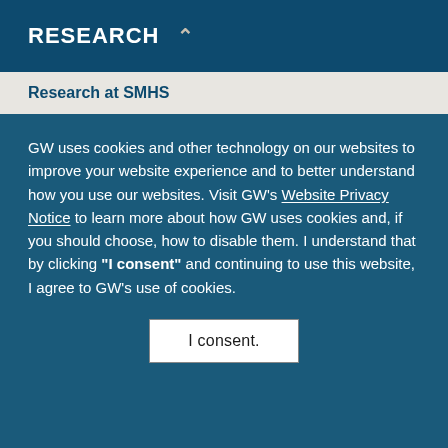RESEARCH
Research at SMHS
GW uses cookies and other technology on our websites to improve your website experience and to better understand how you use our websites. Visit GW’s Website Privacy Notice to learn more about how GW uses cookies and, if you should choose, how to disable them. I understand that by clicking “I consent” and continuing to use this website, I agree to GW’s use of cookies.
I consent.